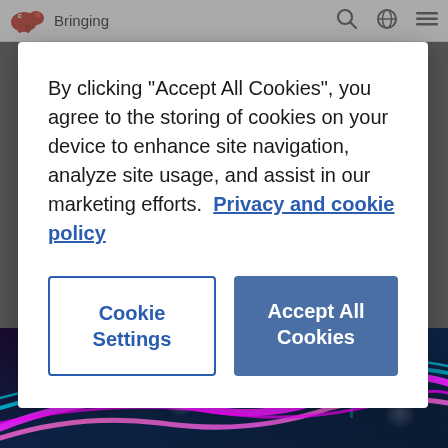Bringing
By clicking “Accept All Cookies”, you agree to the storing of cookies on your device to enhance site navigation, analyze site usage, and assist in our marketing efforts.  Privacy and cookie policy
Cookie Settings
Accept All Cookies
[Figure (photo): Close-up photo of colorful circuit board with pink and cyan fiber optic cables]